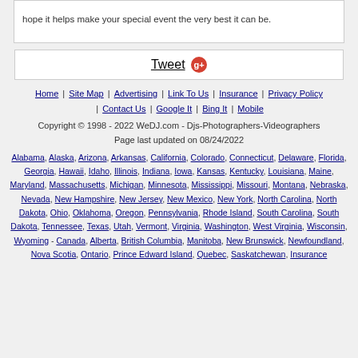hope it helps make your special event the very best it can be.
[Figure (other): Tweet button with Google+ icon]
Home | Site Map | Advertising | Link To Us | Insurance | Privacy Policy | Contact Us | Google It | Bing It | Mobile
Copyright © 1998 - 2022 WeDJ.com - Djs-Photographers-Videographers
Page last updated on 08/24/2022
Alabama, Alaska, Arizona, Arkansas, California, Colorado, Connecticut, Delaware, Florida, Georgia, Hawaii, Idaho, Illinois, Indiana, Iowa, Kansas, Kentucky, Louisiana, Maine, Maryland, Massachusetts, Michigan, Minnesota, Mississippi, Missouri, Montana, Nebraska, Nevada, New Hampshire, New Jersey, New Mexico, New York, North Carolina, North Dakota, Ohio, Oklahoma, Oregon, Pennsylvania, Rhode Island, South Carolina, South Dakota, Tennessee, Texas, Utah, Vermont, Virginia, Washington, West Virginia, Wisconsin, Wyoming - Canada, Alberta, British Columbia, Manitoba, New Brunswick, Newfoundland, Nova Scotia, Ontario, Prince Edward Island, Quebec, Saskatchewan, Insurance